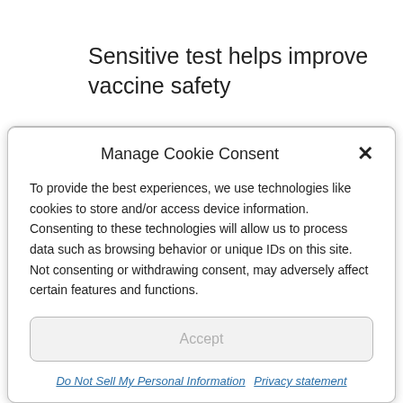Sensitive test helps improve vaccine safety
Posted on Fri/6/July by AZBio
Salmonella Typhi (S. Typhi) is the causative agent of typhoid fever, a serious health threat resulting in some 22 million new cases yearly and approximately 217,000 fatalities. A number of novel vaccine candidates using live attenuated strains of
Manage Cookie Consent
To provide the best experiences, we use technologies like cookies to store and/or access device information. Consenting to these technologies will allow us to process data such as browsing behavior or unique IDs on this site. Not consenting or withdrawing consent, may adversely affect certain features and functions.
Accept
Do Not Sell My Personal Information   Privacy statement